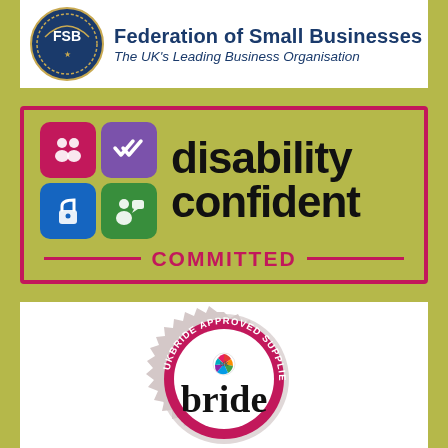[Figure (logo): FSB Federation of Small Businesses logo - circular badge with FSB text, beside 'Federation of Small Businesses' and 'The UK's Leading Business Organisation']
[Figure (logo): Disability Confident Committed logo - pink border box with four coloured icon squares (pink people, purple checkmarks, blue padlock, green speech bubble person) and 'disability confident' text in black, 'COMMITTED' in pink below]
[Figure (logo): UKBride Approved Supplier seal - circular pink and grey badge with 'UKBRIDE APPROVED SUPPLIER' text around edge and 'bride' text with UK heart logo in centre]